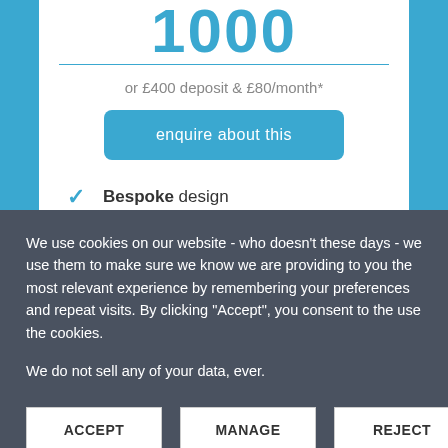1000 (cropped at top)
or £400 deposit & £80/month*
enquire about this
✓ Bespoke design
We use cookies on our website - who doesn't these days - we use them to make sure we know we are providing to you the most relevant experience by remembering your preferences and repeat visits. By clicking "Accept", you consent to the use the cookies.
We do not sell any of your data, ever.
ACCEPT
MANAGE
REJECT